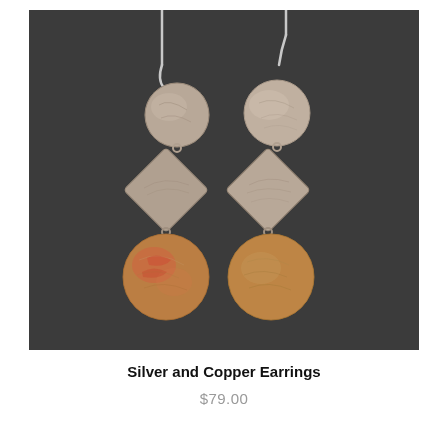[Figure (photo): Product photo of two silver and copper dangle earrings on a dark gray background. Each earring has three components connected by small rings: a silver textured circle at the top, a silver textured diamond/square shape in the middle rotated 45 degrees, and a larger copper/russet colored circle at the bottom. The ear wires are silver. The earrings hang from silver hook wires visible at the top.]
Silver and Copper Earrings
$79.00